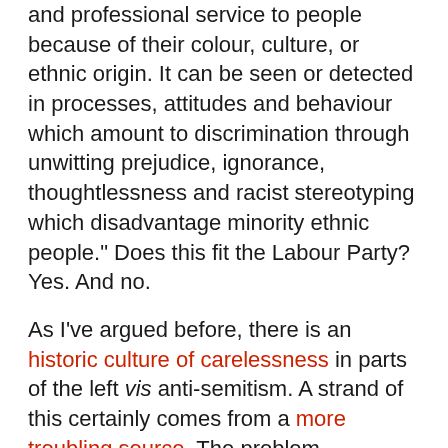collective failure of an organisation to provide an appropriate and professional service to people because of their colour, culture, or ethnic origin. It can be seen or detected in processes, attitudes and behaviour which amount to discrimination through unwitting prejudice, ignorance, thoughtlessness and racist stereotyping which disadvantage minority ethnic people." Does this fit the Labour Party? Yes. And no.
As I've argued before, there is an historic culture of carelessness in parts of the left vis anti-semitism. A strand of this certainly comes from a more troubling source. The problem, however, is because this is overlaid by factional struggle there is now a blockage, an over-defensiveness and lack of willingness to countenance the very existence of a problem on the part of those who share and push anti-semitic tropes, or promote the work of anti-semites. This, of course, is compounded by the over-amplifying of anti-semitism by the media and the alacrity with which it has been taken up by Corbyn opponents, including hypocrites who floated "rootless cosmopolitan" criticisms of Ed Miliband when it suited just a few years ago. Here's the thing. Just because your opponents take up an issue, some times